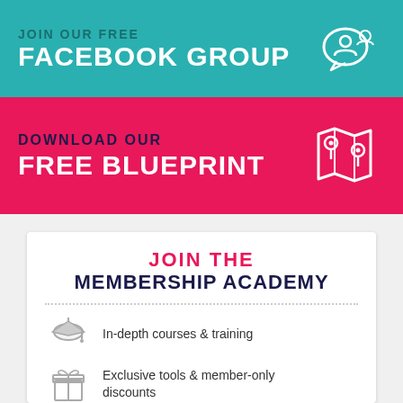JOIN OUR FREE
FACEBOOK GROUP
DOWNLOAD OUR
FREE BLUEPRINT
JOIN THE
MEMBERSHIP ACADEMY
In-depth courses & training
Exclusive tools & member-only discounts
Active, Supportive Community